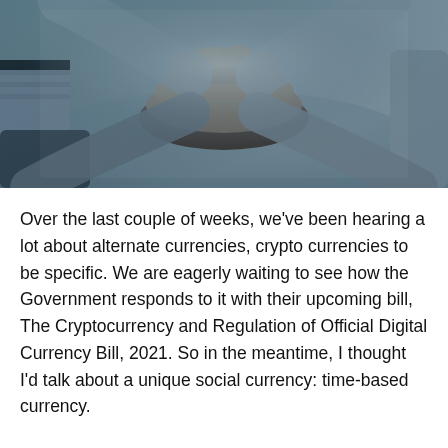[Figure (photo): Photograph of a group of people stacking their hands together in a team huddle gesture, shot from above, with a muted blue-gray tonal treatment.]
Over the last couple of weeks, we've been hearing a lot about alternate currencies, crypto currencies to be specific. We are eagerly waiting to see how the Government responds to it with their upcoming bill, The Cryptocurrency and Regulation of Official Digital Currency Bill, 2021. So in the meantime, I thought I'd talk about a unique social currency: time-based currency.